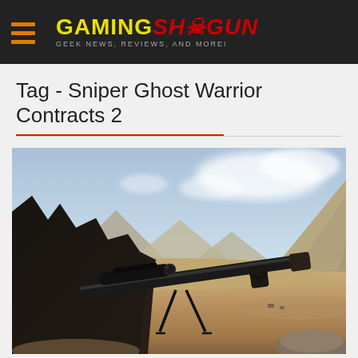GAMING SHOGUN — GEEK NEWS, REVIEWS, AND MORE!
Tag - Sniper Ghost Warrior Contracts 2
[Figure (screenshot): Game screenshot from Sniper Ghost Warrior Contracts 2 showing a sniper with bipod-mounted rifle in a desert mountain landscape with dramatic sky]